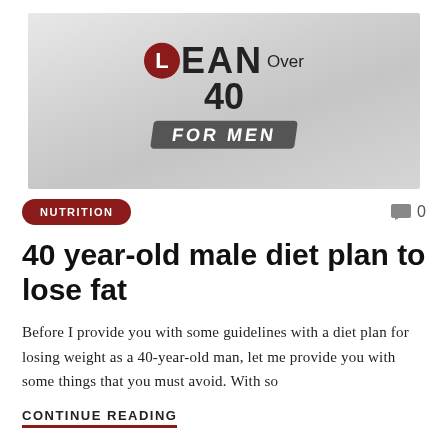[Figure (logo): Lean Over 40 For Men logo on a grey gradient background]
NUTRITION
0
40 year-old male diet plan to lose fat
Before I provide you with some guidelines with a diet plan for losing weight as a 40-year-old man, let me provide you with some things that you must avoid. With so
CONTINUE READING